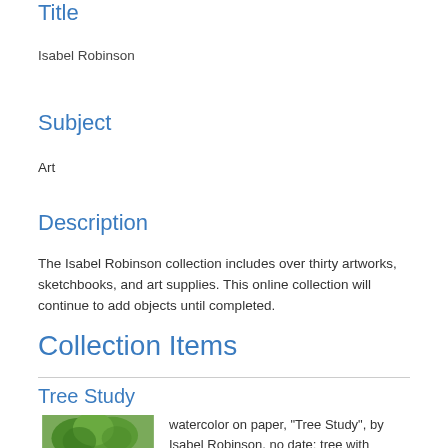Title
Isabel Robinson
Subject
Art
Description
The Isabel Robinson collection includes over thirty artworks, sketchbooks, and art supplies. This online collection will continue to add objects until completed.
Collection Items
Tree Study
[Figure (photo): Watercolor painting of a tree study showing green trees with a stream, by Isabel Robinson]
watercolor on paper, "Tree Study", by Isabel Robinson, no date; tree with stream